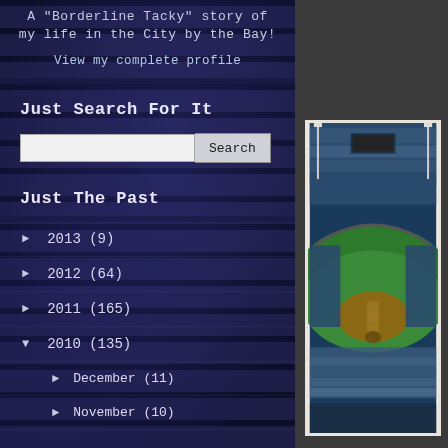A "Borderline Tacky" story of my life in the City by the Bay!
View my complete profile
Just Search For It
[Search box and button]
Just The Past
► 2013 (9)
► 2012 (64)
► 2011 (165)
▼ 2010 (135)
► December (11)
► November (10)
[Figure (photo): Aerial view of a baseball stadium with green field and crowds in the stands, displayed in a white frame on dark background]